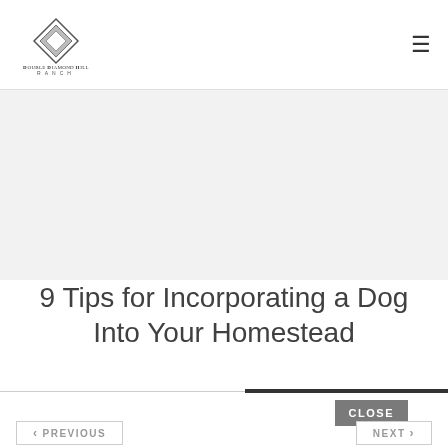Double Diamond Hill Ranch
[Figure (other): Gray hero image band placeholder]
9 Tips for Incorporating a Dog Into Your Homestead
CLOSE
< PREVIOUS
NEXT >